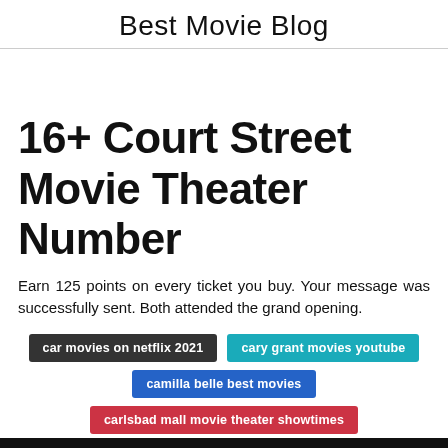Best Movie Blog
16+ Court Street Movie Theater Number
Earn 125 points on every ticket you buy. Your message was successfully sent. Both attended the grand opening.
car movies on netflix 2021
cary grant movies youtube
camilla belle best movies
carlsbad mall movie theater showtimes
carrollton movie theater movies playing
CLOSE ✕